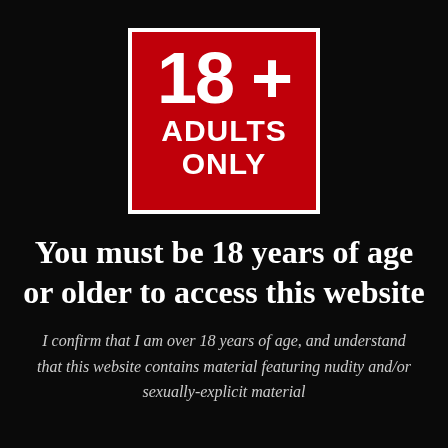[Figure (illustration): Red square badge with white border displaying '18+' in large bold text and 'ADULTS ONLY' in bold white text below, on a black background]
You must be 18 years of age or older to access this website
I confirm that I am over 18 years of age, and understand that this website contains material featuring nudity and/or sexually-explicit material